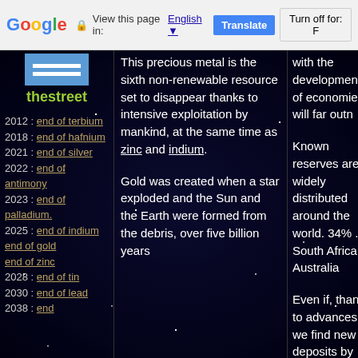Google | View this page in: English | Translate | Turn off for: F
[Figure (logo): Site icon/logo placeholder - blue rectangle with white bars]
thestreet
2012 : end of terbium
2018 : end of hafnium
2021 : end of silver
2022 : end of antimony
2023 : end of palladium.
2025 : end of indium
end of gold
end of zinc
2028 : end of tin
2030 : end of lead
2038 : end of ...
This precious metal is the sixth non-renewable resource set to disappear thanks to intensive exploitation by mankind, at the same time as zinc and indium.
Gold was created when a star exploded and the Sun and the Earth were formed from the debris, over five billion years
with the development of economies, will far outn...
Known reserves are widely distributed around the world. 34% ... South Africa, Australia
Even if, thanks to advances, we find new deposits by going deeper and deeper into the Earth, this will afford us only a few years and will not make a major impact...
As a matter of interest, scientists have succeeded in transforming microgrammes of lead into gold in a nuclear reactor, but at a huge cost. Similarly, it is possible in tiny quantities in particle accelerators at the expense of huge energy